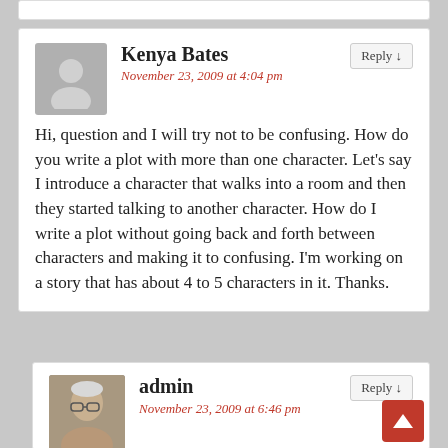Kenya Bates
November 23, 2009 at 4:04 pm
Hi, question and I will try not to be confusing. How do you write a plot with more than one character. Let's say I introduce a character that walks into a room and then they started talking to another character. How do I write a plot without going back and forth between characters and making it to confusing. I'm working on a story that has about 4 to 5 characters in it. Thanks.
admin
November 23, 2009 at 6:46 pm
Thanks for the question. Here are some basics to help you think about how to get your story on the page. Plot is everything that happens in a story. Characters act out happenings in a